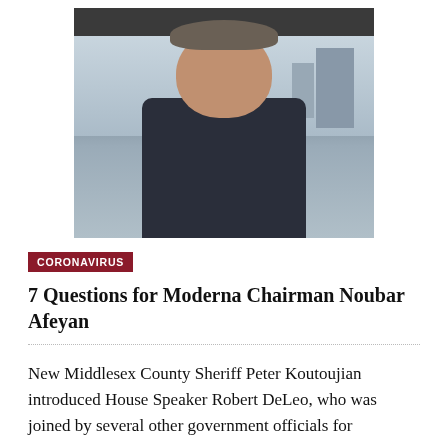[Figure (photo): Portrait photo of a middle-aged man in a dark suit jacket and open-collar white shirt, standing in front of a cityscape/building background through glass windows.]
CORONAVIRUS
7 Questions for Moderna Chairman Noubar Afeyan
New Middlesex County Sheriff Peter Koutoujian introduced House Speaker Robert DeLeo, who was joined by several other government officials for